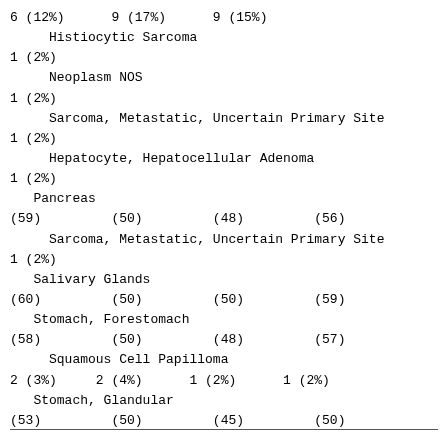6 (12%)      9 (17%)      9 (15%)
Histiocytic Sarcoma
1 (2%)
     Neoplasm NOS
1 (2%)
     Sarcoma, Metastatic, Uncertain Primary Site
1 (2%)
     Hepatocyte, Hepatocellular Adenoma
1 (2%)
   Pancreas
(59)         (50)         (48)         (56)
Sarcoma, Metastatic, Uncertain Primary Site
1 (2%)
   Salivary Glands
(60)         (50)         (50)         (59)
Stomach, Forestomach
(58)         (50)         (48)         (57)
Squamous Cell Papilloma
2 (3%)     2 (4%)      1 (2%)      1 (2%)
Stomach, Glandular
(53)         (50)         (45)         (50)